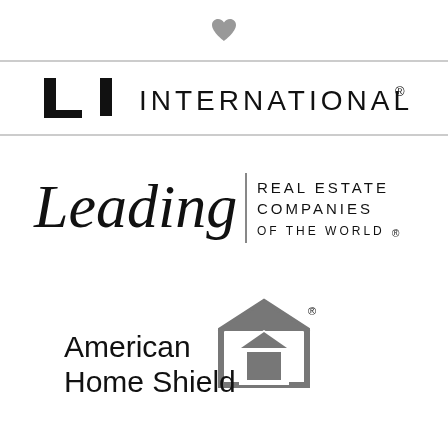[Figure (logo): Small gray heart icon at top center]
[Figure (logo): LTI International logo with bold block letters LI and word INTERNATIONAL with registered mark]
[Figure (logo): Leading Real Estate Companies of the World logo with script Leading text and sans-serif REAL ESTATE COMPANIES OF THE WORLD with registered mark]
[Figure (logo): American Home Shield logo with house/shield icon and text American Home Shield]